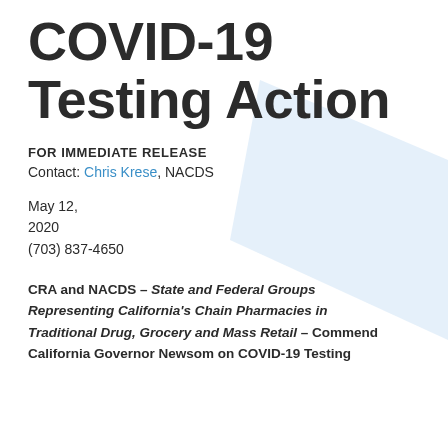COVID-19 Testing Action
FOR IMMEDIATE RELEASE
Contact: Chris Krese, NACDS
May 12,
2020
(703) 837-4650
CRA and NACDS – State and Federal Groups Representing California's Chain Pharmacies in Traditional Drug, Grocery and Mass Retail – Commend California Governor Newsom on COVID-19 Testing